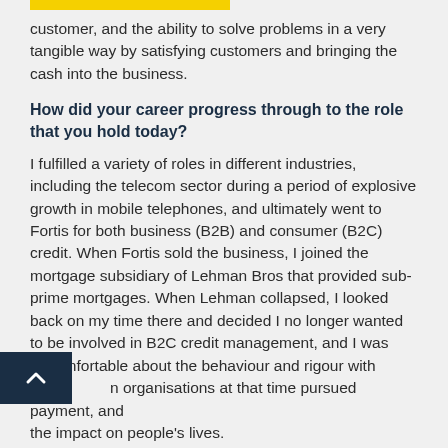customer, and the ability to solve problems in a very tangible way by satisfying customers and bringing the cash into the business.
How did your career progress through to the role that you hold today?
I fulfilled a variety of roles in different industries, including the telecom sector during a period of explosive growth in mobile telephones, and ultimately went to Fortis for both business (B2B) and consumer (B2C) credit. When Fortis sold the business, I joined the mortgage subsidiary of Lehman Bros that provided sub-prime mortgages. When Lehman collapsed, I looked back on my time there and decided I no longer wanted to be involved in B2C credit management, and I was uncomfortable about the behaviour and rigour with which organisations at that time pursued payment, and the impact on people's lives.